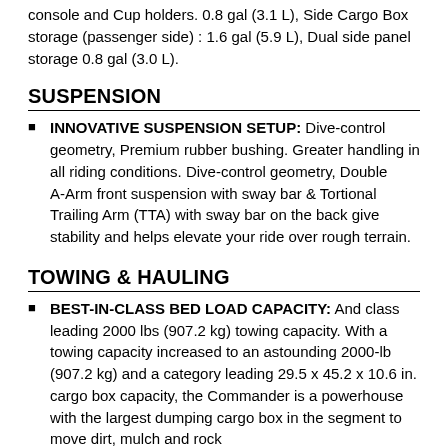console and Cup holders. 0.8 gal (3.1 L), Side Cargo Box storage (passenger side) : 1.6 gal (5.9 L), Dual side panel storage 0.8 gal (3.0 L).
SUSPENSION
INNOVATIVE SUSPENSION SETUP: Dive-control geometry, Premium rubber bushing. Greater handling in all riding conditions. Dive-control geometry, Double A-Arm front suspension with sway bar & Tortional Trailing Arm (TTA) with sway bar on the back give stability and helps elevate your ride over rough terrain.
TOWING & HAULING
BEST-IN-CLASS BED LOAD CAPACITY: And class leading 2000 lbs (907.2 kg) towing capacity. With a towing capacity increased to an astounding 2000-lb (907.2 kg) and a category leading 29.5 x 45.2 x 10.6 in. cargo box capacity, the Commander is a powerhouse with the largest dumping cargo box in the segment to move dirt, mulch and rock